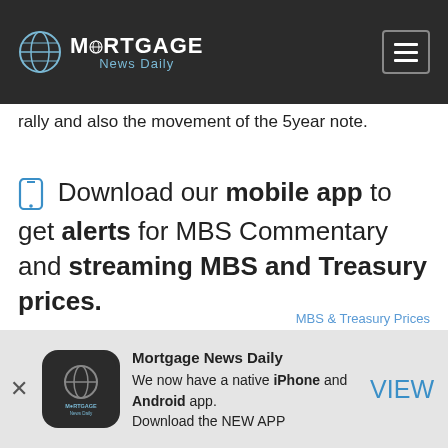Mortgage News Daily
rally and also the movement of the 5year note.
Download our mobile app to get alerts for MBS Commentary and streaming MBS and Treasury prices.
MBS & Treasury Prices
Mortgage News Daily
We now have a native iPhone and Android app. Download the NEW APP
VIEW